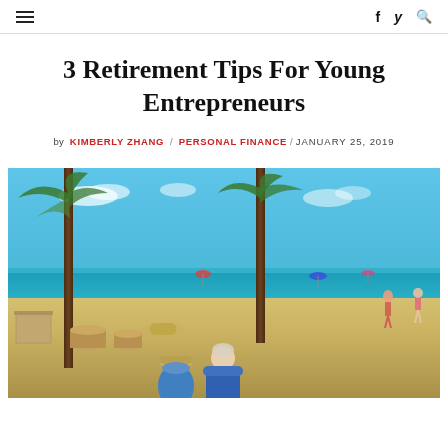≡  f  🐦  🔍
3 Retirement Tips For Young Entrepreneurs
by KIMBERLY ZHANG / PERSONAL FINANCE / JANUARY 25, 2019
[Figure (photo): An elderly couple viewed from behind sitting on a beach with palm trees, blue ocean, sandy beach, and other beachgoers in the background on a sunny day.]